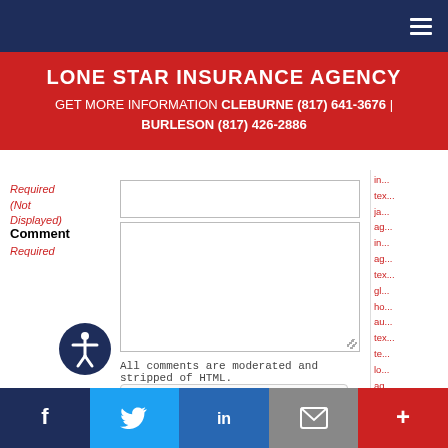LONE STAR INSURANCE AGENCY
GET MORE INFORMATION CLEBURNE (817) 641-3676 | BURLESON (817) 426-2886
Required (Not Displayed)
Comment
Required
All comments are moderated and stripped of HTML.
[Figure (other): reCAPTCHA widget with checkbox and 'I'm not a robot' label]
[Figure (other): Accessibility icon - person in circle]
Facebook | Twitter | LinkedIn | Email | More